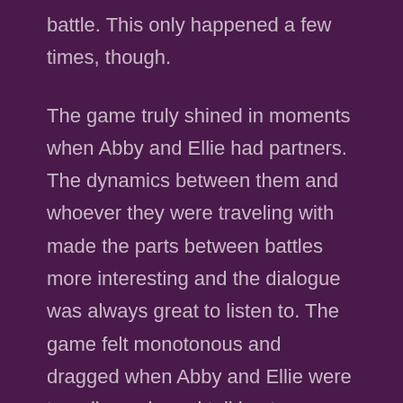battle. This only happened a few times, though.
The game truly shined in moments when Abby and Ellie had partners. The dynamics between them and whoever they were traveling with made the parts between battles more interesting and the dialogue was always great to listen to. The game felt monotonous and dragged when Abby and Ellie were traveling solo and talking to themselves, though.
It also felt overly long and padded in some parts. I lost track of the times I would crest over a hill or building and see my target location in the distance. At which point Ellie or Abby would mutter something like "I'm getting closer" before